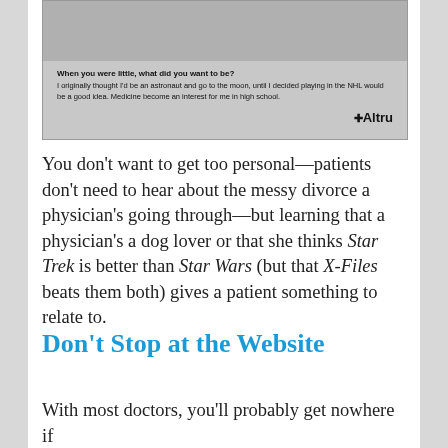[Figure (screenshot): A scanned card or brochure snippet. Shows text: 'Someday I would like to go to Hawaii.' then question 'When you were little, what did you want to be?' and answer 'I originally thought I'd be an astronaut and go to the moon, until I decided playing in the NHL would be a good idea. Medicine become an interest for me in high school.' with the Altru logo in the bottom right.]
You don't want to get too personal—patients don't need to hear about the messy divorce a physician's going through—but learning that a physician's a dog lover or that she thinks Star Trek is better than Star Wars (but that X-Files beats them both) gives a patient something to relate to.
Don't Stop at the Website
With most doctors, you'll probably get nowhere if